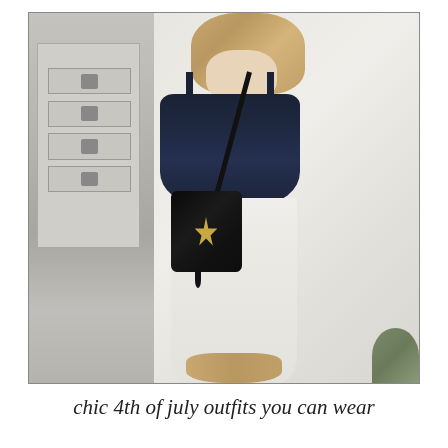[Figure (photo): Fashion photo of a woman wearing a navy blue ruffle camisole top with tie straps, white straight-leg jeans, and a black quilted YSL crossbody camera bag with gold logo and tassel. She is standing against a light beige/white wall with a closet/dresser visible on the left. She appears to be looking down.]
chic 4th of july outfits you can wear